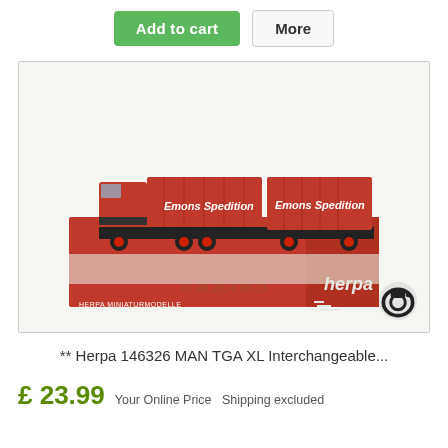Add to cart   More
[Figure (photo): A Herpa Miniaturmodelle model truck set - MAN TGA XL with red Emons Spedition livery on both the main truck and trailer, shown in/near its red Herpa box. Timestamp: 07.05.2014 08:33]
** Herpa 146326 MAN TGA XL Interchangeable...
£ 23.99 Your Online Price  Shipping excluded